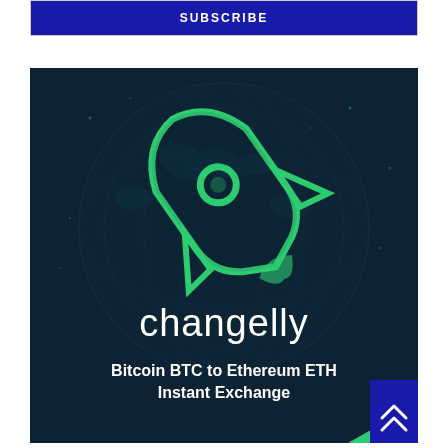SUBSCRIBE
[Figure (logo): Changelly cryptocurrency exchange advertisement. Dark teal/navy background with globe imagery, green rocket ship logo, 'changelly' brand name in white, and text 'Bitcoin BTC to Ethereum ETH Instant Exchange']